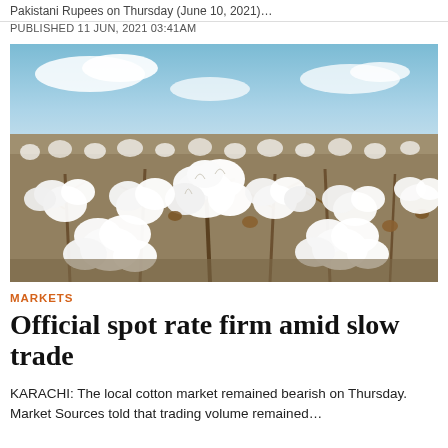Pakistani Rupees on Thursday (June 10, 2021)…
PUBLISHED 11 JUN, 2021 03:41AM
[Figure (photo): Cotton field with white cotton bolls in bloom against a blue sky background]
MARKETS
Official spot rate firm amid slow trade
KARACHI: The local cotton market remained bearish on Thursday. Market Sources told that trading volume remained…